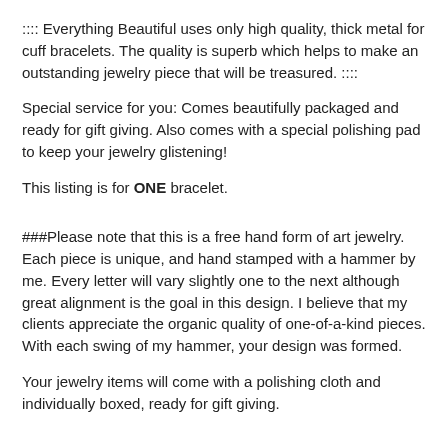:::: Everything Beautiful uses only high quality, thick metal for cuff bracelets. The quality is superb which helps to make an outstanding jewelry piece that will be treasured. ::::
Special service for you: Comes beautifully packaged and ready for gift giving. Also comes with a special polishing pad to keep your jewelry glistening!
This listing is for ONE bracelet.
###Please note that this is a free hand form of art jewelry. Each piece is unique, and hand stamped with a hammer by me. Every letter will vary slightly one to the next although great alignment is the goal in this design. I believe that my clients appreciate the organic quality of one-of-a-kind pieces. With each swing of my hammer, your design was formed.
Your jewelry items will come with a polishing cloth and individually boxed, ready for gift giving.